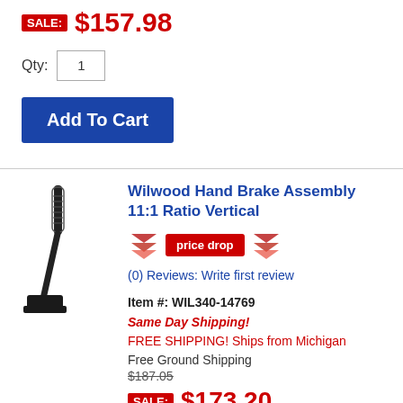SALE: $157.98
Qty: 1
Add To Cart
[Figure (photo): Wilwood Hand Brake Assembly vertical mount, black metal lever with bracket]
Wilwood Hand Brake Assembly 11:1 Ratio Vertical
[Figure (infographic): Price drop badge with two red downward chevron icons on either side and a red 'price drop' button in the center]
(0) Reviews: Write first review
Item #: WIL340-14769
Same Day Shipping!
FREE SHIPPING! Ships from Michigan
Free Ground Shipping
$187.05
SALE: $173.20